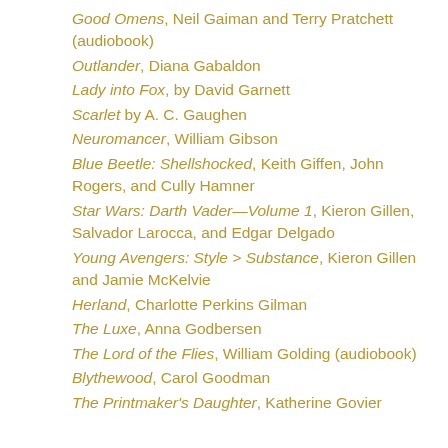Good Omens, Neil Gaiman and Terry Pratchett (audiobook)
Outlander, Diana Gabaldon
Lady into Fox, by David Garnett
Scarlet by A. C. Gaughen
Neuromancer, William Gibson
Blue Beetle: Shellshocked, Keith Giffen, John Rogers, and Cully Hamner
Star Wars: Darth Vader—Volume 1, Kieron Gillen, Salvador Larocca, and Edgar Delgado
Young Avengers: Style > Substance, Kieron Gillen and Jamie McKelvie
Herland, Charlotte Perkins Gilman
The Luxe, Anna Godbersen
The Lord of the Flies, William Golding (audiobook)
Blythewood, Carol Goodman
The Printmaker's Daughter, Katherine Govier